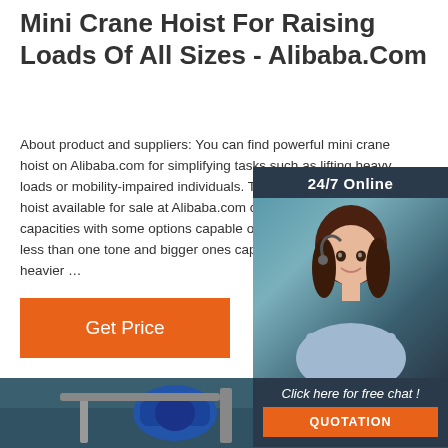Mini Crane Hoist For Raising Loads Of All Sizes - Alibaba.Com
About product and suppliers: You can find powerful mini crane hoist on Alibaba.com for simplifying tasks such as lifting heavy loads or mobility-impaired individuals. The many mini crane hoist available for sale at Alibaba.com come in various capacities with some options capable of hoisting something less than one tone and bigger ones capable of hoisting heavier …
[Figure (other): 24/7 Online chat widget with a customer service representative photo, 'Click here for free chat!' text, and an orange QUOTATION button]
[Figure (other): Click here for free chat button]
Get Price
[Figure (photo): Photo of industrial mini crane hoist machinery with blue motor on a dark teal background]